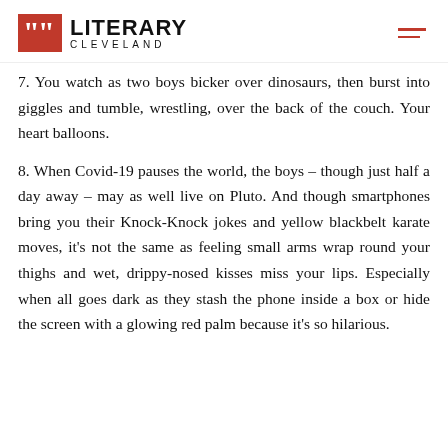Literary Cleveland
7. You watch as two boys bicker over dinosaurs, then burst into giggles and tumble, wrestling, over the back of the couch. Your heart balloons.
8. When Covid-19 pauses the world, the boys – though just half a day away – may as well live on Pluto. And though smartphones bring you their Knock-Knock jokes and yellow blackbelt karate moves, it's not the same as feeling small arms wrap round your thighs and wet, drippy-nosed kisses miss your lips. Especially when all goes dark as they stash the phone inside a box or hide the screen with a glowing red palm because it's so hilarious.